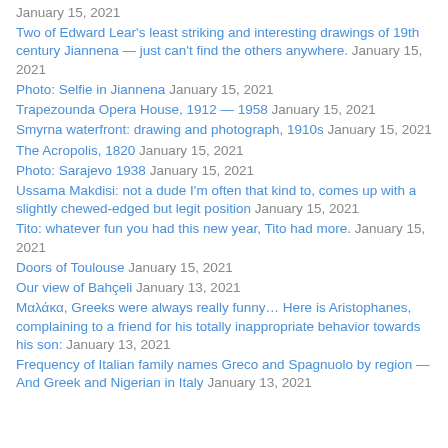January 15, 2021
Two of Edward Lear's least striking and interesting drawings of 19th century Jiannena — just can't find the others anywhere. January 15, 2021
Photo: Selfie in Jiannena January 15, 2021
Trapezounda Opera House, 1912 — 1958 January 15, 2021
Smyrna waterfront: drawing and photograph, 1910s January 15, 2021
The Acropolis, 1820 January 15, 2021
Photo: Sarajevo 1938 January 15, 2021
Ussama Makdisi: not a dude I'm often that kind to, comes up with a slightly chewed-edged but legit position January 15, 2021
Tito: whatever fun you had this new year, Tito had more. January 15, 2021
Doors of Toulouse January 15, 2021
Our view of Bahçeli January 13, 2021
Μαλάκα, Greeks were always really funny… Here is Aristophanes, complaining to a friend for his totally inappropriate behavior towards his son: January 13, 2021
Frequency of Italian family names Greco and Spagnuolo by region — And Greek and Nigerian in Italy January 13, 2021